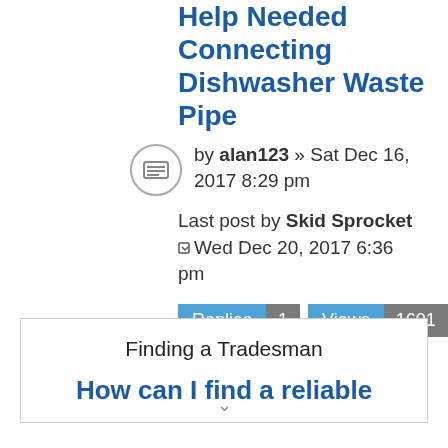Help Needed Connecting Dishwasher Waste Pipe
by alan123 » Sat Dec 16, 2017 8:29 pm
Last post by Skid Sprocket Wed Dec 20, 2017 6:36 pm
Replies 1  Views 1601
Finding a Tradesman
How can I find a reliable